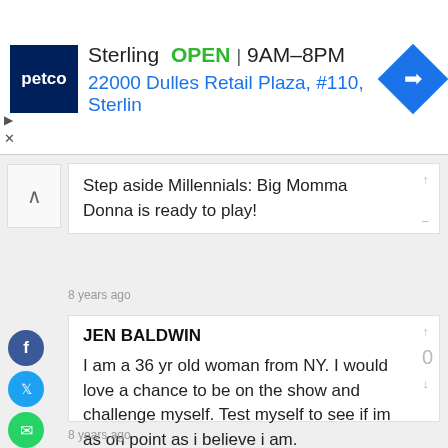[Figure (screenshot): Petco ad banner showing Sterling store, OPEN status, hours 9AM-8PM, address 22000 Dulles Retail Plaza #110 Sterling, with navigation arrow icon]
Step aside Millennials: Big Momma Donna is ready to play!
8 years ago
JEN BALDWIN
I am a 36 yr old woman from NY. I would love a chance to be on the show and challenge myself. Test myself to see if im as on point as i believe i am.
8 years ago